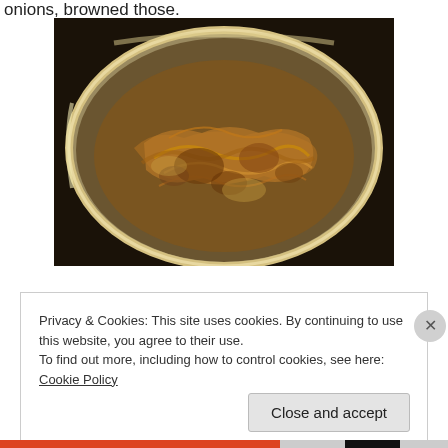onions, browned those.
[Figure (photo): A stainless steel frying pan containing caramelized/browned sliced onions cooked in oil or butter.]
Privacy & Cookies: This site uses cookies. By continuing to use this website, you agree to their use.
To find out more, including how to control cookies, see here: Cookie Policy
Close and accept